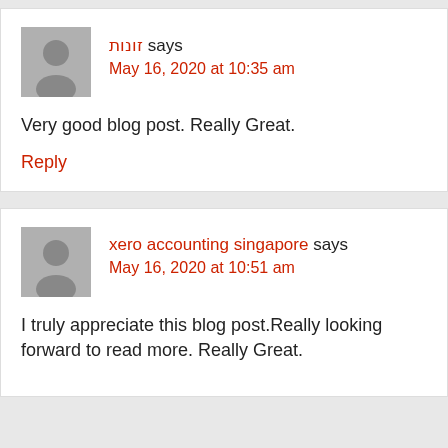זונות says
May 16, 2020 at 10:35 am
Very good blog post. Really Great.
Reply
xero accounting singapore says
May 16, 2020 at 10:51 am
I truly appreciate this blog post.Really looking forward to read more. Really Great.